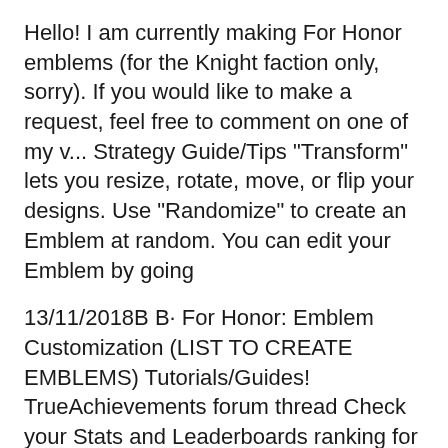Hello! I am currently making For Honor emblems (for the Knight faction only, sorry). If you would like to make a request, feel free to comment on one of my v... Strategy Guide/Tips "Transform" lets you resize, rotate, move, or flip your designs. Use "Randomize" to create an Emblem at random. You can edit your Emblem by going
13/11/2018B B· For Honor: Emblem Customization (LIST TO CREATE EMBLEMS) Tutorials/Guides! TrueAchievements forum thread Check your Stats and Leaderboards ranking for For Honor.
[Figure (photo): A medieval shield from the game For Honor with a green emblem/symbol on its face, dark moody background]